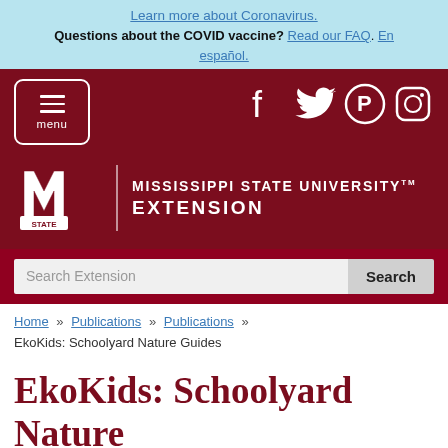Learn more about Coronavirus. Questions about the COVID vaccine? Read our FAQ. En español.
[Figure (screenshot): Mississippi State University Extension website header with menu button, social media icons (Facebook, Twitter, Pinterest, Instagram), MSU logo, and search bar]
Home » Publications » Publications »
EkoKids: Schoolyard Nature Guides
EkoKids: Schoolyard Nature Guides